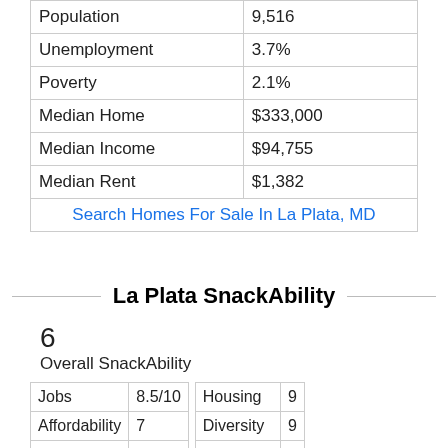|  |  |
| --- | --- |
| Population | 9,516 |
| Unemployment | 3.7% |
| Poverty | 2.1% |
| Median Home | $333,000 |
| Median Income | $94,755 |
| Median Rent | $1,382 |
| Search Homes For Sale In La Plata, MD |  |
La Plata SnackAbility
6
Overall SnackAbility
| Jobs | 8.5/10 |
| Affordability | 7 |
| Safety | N/A |
| Education | 8 |
| Housing | 9 |
| Diversity | 9 |
| Amenities | 8 |
| Commute | 3 |